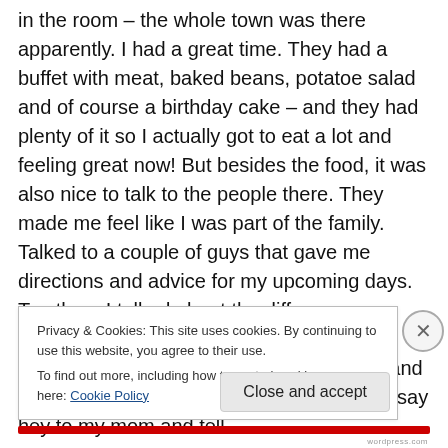in the room – the whole town was there apparently. I had a great time. They had a buffet with meat, baked beans, potatoe salad and of course a birthday cake – and they had plenty of it so I actually got to eat a lot and feeling great now! But besides the food, it was also nice to talk to the people there. They made me feel like I was part of the family. Talked to a couple of guys that gave me directions and advice for my upcoming days. To others I talked about the differences between Germany and the US. And at the end, I took a picture with the birthday-boy and his wife. He gave me a hug and told me to say hey to my mom and tell
Privacy & Cookies: This site uses cookies. By continuing to use this website, you agree to their use.
To find out more, including how to control cookies, see here: Cookie Policy
Close and accept